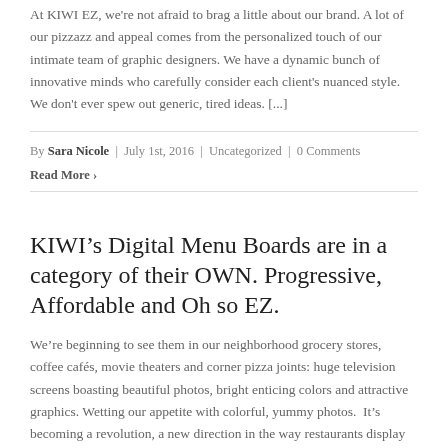At KIWI EZ, we're not afraid to brag a little about our brand. A lot of our pizzazz and appeal comes from the personalized touch of our intimate team of graphic designers. We have a dynamic bunch of innovative minds who carefully consider each client's nuanced style. We don't ever spew out generic, tired ideas. [...]
By Sara Nicole | July 1st, 2016 | Uncategorized | 0 Comments
Read More >
KIWI's Digital Menu Boards are in a category of their OWN. Progressive, Affordable and Oh so EZ.
We're beginning to see them in our neighborhood grocery stores, coffee cafés, movie theaters and corner pizza joints: huge television screens boasting beautiful photos, bright enticing colors and attractive graphics. Wetting our appetite with colorful, yummy photos.  It's becoming a revolution, a new direction in the way restaurants display their goods to increase sales and [...]
By Sara Nicole | March 5th, 2016 | Uncategorized | 0 Comments